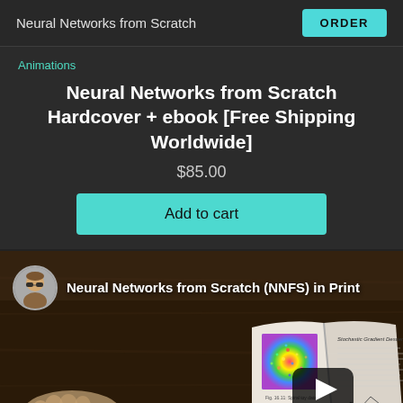Neural Networks from Scratch
ORDER
Animations
Neural Networks from Scratch Hardcover + ebook [Free Shipping Worldwide]
$85.00
Add to cart
[Figure (screenshot): YouTube video thumbnail showing a person holding open a book with a colorful spiral plot image on one page and text about Stochastic Gradient Descent on the other. A circular avatar of a person wearing sunglasses is in the top-left. The video title reads 'Neural Networks from Scratch (NNFS) in Print'. A YouTube play button is overlaid near the bottom center.]